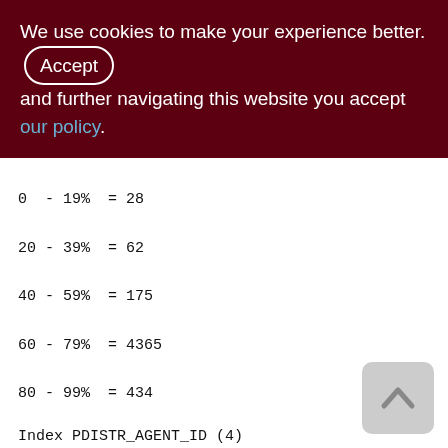We use cookies to make your experience better. By accepting and further navigating this website you accept our policy.
0 - 19% = 28
20 - 39% = 62
40 - 59% = 175
60 - 79% = 4365
80 - 99% = 434
Index PDISTR_AGENT_ID (4)
Root page: 3976, depth: 2, leaf buckets: 265, nodes: 246425
Average node length: 4.90, total dup: 246376, max dup: 15954
Average key length: 2.01, compression ratio: 4.47